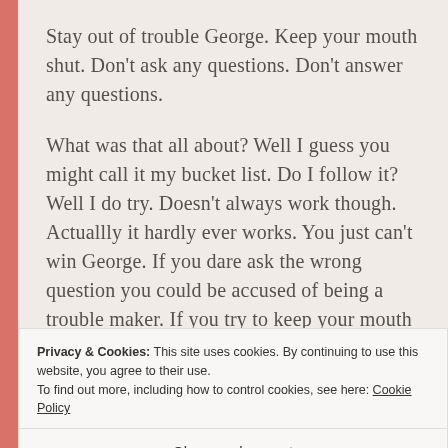Stay out of trouble George. Keep your mouth shut. Don’t ask any questions. Don’t answer any questions.
What was that all about? Well I guess you might call it my bucket list. Do I follow it? Well I do try. Doesn’t always work though. Actuallly it hardly ever works. You just can’t win George. If you dare ask the wrong question you could be accused of being a trouble maker. If you try to keep your mouth shut and not say anything you could be
Privacy & Cookies: This site uses cookies. By continuing to use this website, you agree to their use.
To find out more, including how to control cookies, see here: Cookie Policy
Close and accept
stubble… What is an honest person supposed to